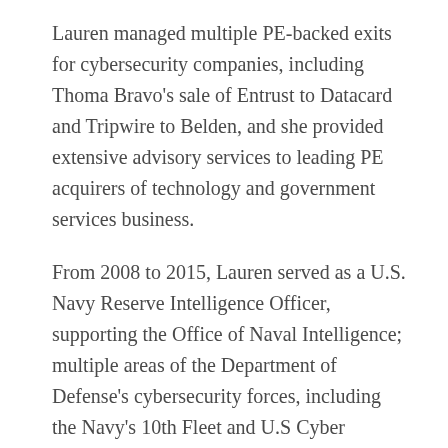Lauren managed multiple PE-backed exits for cybersecurity companies, including Thoma Bravo's sale of Entrust to Datacard and Tripwire to Belden, and she provided extensive advisory services to leading PE acquirers of technology and government services business.
From 2008 to 2015, Lauren served as a U.S. Navy Reserve Intelligence Officer, supporting the Office of Naval Intelligence; multiple areas of the Department of Defense's cybersecurity forces, including the Navy's 10th Fleet and U.S Cyber Command; and the U.S. Pacific Fleet, providing Maritime Domain Awareness support.
Lauren lives in Oakland with her husband and two daughters. She is a graduate of Dartmouth College and has an MA from Georgetown University's School of Foreign